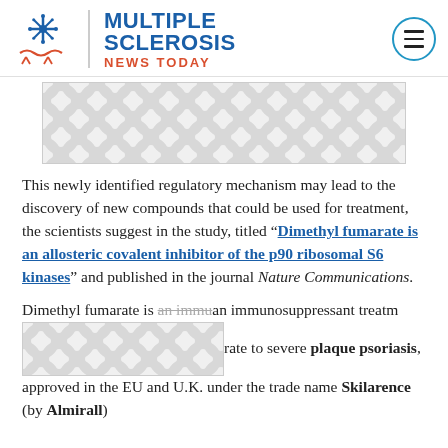Multiple Sclerosis News Today
[Figure (other): Advertisement banner with decorative circle pattern in light gray]
This newly identified regulatory mechanism may lead to the discovery of new compounds that could be used for treatment, the scientists suggest in the study, titled “Dimethyl fumarate is an allosteric covalent inhibitor of the p90 ribosomal S6 kinases” and published in the journal Nature Communications.
Dimethyl fumarate is an immunosuppressant treatment … marketed … moderate to severe plaque psoriasis, approved in the EU and U.K. under the trade name Skilarence (by Almirall)